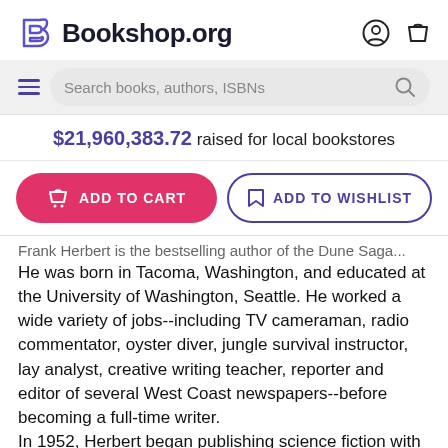Bookshop.org
$21,960,383.72 raised for local bookstores
ADD TO CART | ADD TO WISHLIST
He was born in Tacoma, Washington, and educated at the University of Washington, Seattle. He worked a wide variety of jobs--including TV cameraman, radio commentator, oyster diver, jungle survival instructor, lay analyst, creative writing teacher, reporter and editor of several West Coast newspapers--before becoming a full-time writer.
In 1952, Herbert began publishing science fiction with "Looking for Something?" in Startling Stories. But his emergence as a writer of major stature did not occur...